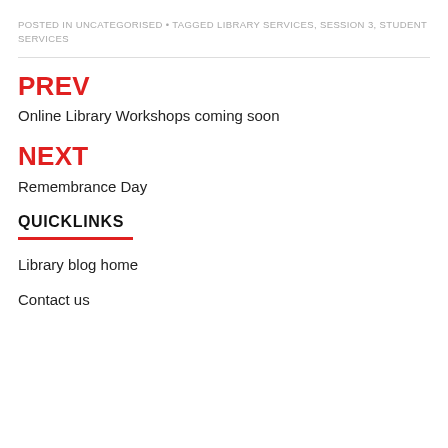POSTED IN UNCATEGORISED • TAGGED LIBRARY SERVICES, SESSION 3, STUDENT SERVICES
PREV
Online Library Workshops coming soon
NEXT
Remembrance Day
QUICKLINKS
Library blog home
Contact us